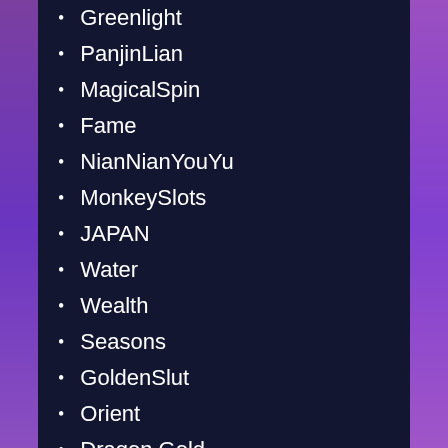Greenlight
PanjinLian
MagicalSpin
Fame
NianNianYouYu
MonkeySlots
JAPAN
Water
Wealth
Seasons
GoldenSlut
Orient
Dragon Gold
FengShen
TopGun
Samurai
MoneyFever
Cleopatra